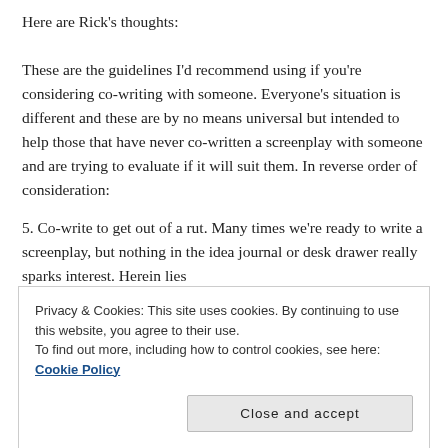Here are Rick's thoughts:
These are the guidelines I'd recommend using if you're considering co-writing with someone. Everyone's situation is different and these are by no means universal but intended to help those that have never co-written a screenplay with someone and are trying to evaluate if it will suit them. In reverse order of consideration:
5. Co-write to get out of a rut. Many times we're ready to write a screenplay, but nothing in the idea journal or desk drawer really sparks interest. Herein lies
Privacy & Cookies: This site uses cookies. By continuing to use this website, you agree to their use.
To find out more, including how to control cookies, see here: Cookie Policy
juices flowing.